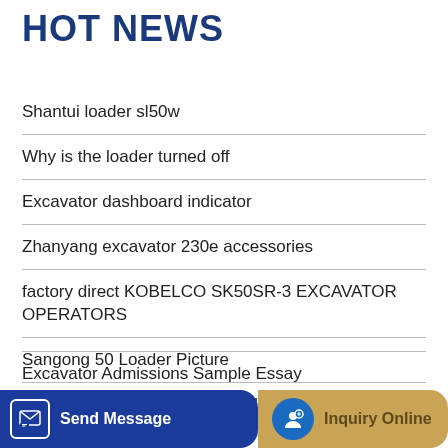HOT NEWS
Shantui loader sl50w
Why is the loader turned off
Excavator dashboard indicator
Zhanyang excavator 230e accessories
factory direct KOBELCO SK50SR-3 EXCAVATOR OPERATORS
Sangong 50 Loader Picture
Magnificent And Well-Designed manual quick coupler excavator
Excavator Admissions Sample Essay